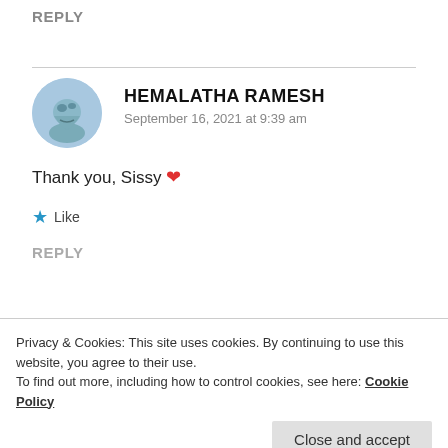REPLY
HEMALATHA RAMESH
September 16, 2021 at 9:39 am
Thank you, Sissy ❤
★ Like
REPLY
Privacy & Cookies: This site uses cookies. By continuing to use this website, you agree to their use.
To find out more, including how to control cookies, see here: Cookie Policy
Close and accept